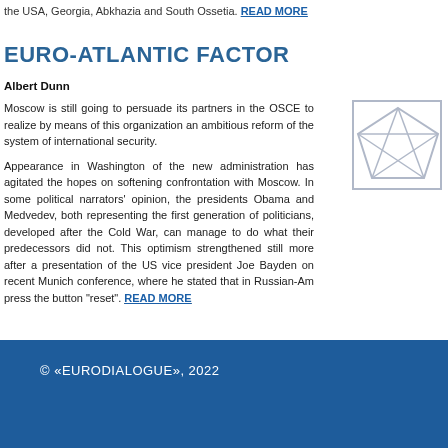the USA, Georgia, Abkhazia and South Ossetia. READ MORE
EURO-ATLANTIC FACTOR
Albert Dunn
Moscow is still going to persuade its partners in the OSCE to realize by means of this organization an ambitious reform of the system of international security.
Appearance in Washington of the new administration has agitated the hopes on softening confrontation with Moscow. In some political narrators' opinion, the presidents Obama and Medvedev, both representing the first generation of politicians, developed after the Cold War, can manage to do what their predecessors did not. This optimism strengthened still more after a presentation of the US vice president Joe Bayden on recent Munich conference, where he stated that in Russian-Am press the button "reset". READ MORE
[Figure (logo): Square logo with geometric star/pentagon design in blue outline]
© «EURODIALOGUE», 2022